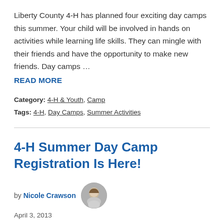Liberty County 4-H has planned four exciting day camps this summer. Your child will be involved in hands on activities while learning life skills. They can mingle with their friends and have the opportunity to make new friends. Day camps …
READ MORE
Category: 4-H & Youth, Camp
Tags: 4-H, Day Camps, Summer Activities
4-H Summer Day Camp Registration Is Here!
by Nicole Crawson
April 3, 2013